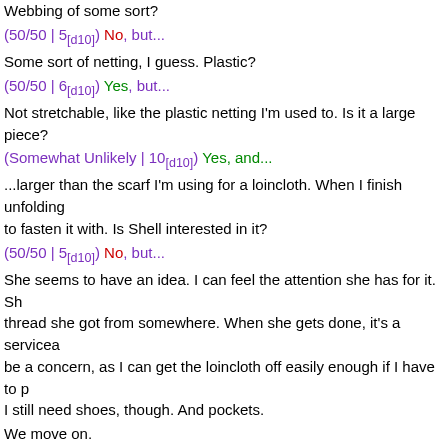Webbing of some sort?
(50/50 | 5[d10]) No, but...
Some sort of netting, I guess. Plastic?
(50/50 | 6[d10]) Yes, but...
Not stretchable, like the plastic netting I'm used to. Is it a large piece?
(Somewhat Unlikely | 10[d10]) Yes, and...
...larger than the scarf I'm using for a loincloth. When I finish unfolding it, I need something to fasten it with. Is Shell interested in it?
(50/50 | 5[d10]) No, but...
She seems to have an idea. I can feel the attention she has for it. She attaches it with thread she got from somewhere. When she gets done, it's a serviceable... This shouldn't be a concern, as I can get the loincloth off easily enough if I have to p... I still need shoes, though. And pockets.
We move on.
In the distance, I can hear regular sounds of some sort, and a kind of... Shell doesn't seem concerned about the noise, so I don't let it bother me, either.
The cloud of tiny objects around me is almost invisible, but I notice th... in the world and they're sticking to it. Shell seems not to notice them ... consider them to be normal? I have no way of knowing.
Shell glances back at me, and I detect concern, although I don't know...
We come to a doorway into a large room and I stub on nothing and fa...
Bounty hunter